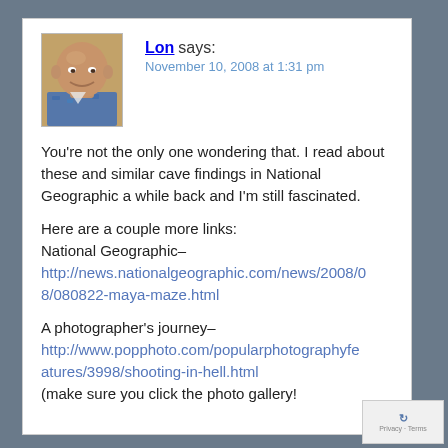[Figure (photo): Avatar photo of a bald man in a blue patterned shirt]
Lon says:
November 10, 2008 at 1:31 pm
You're not the only one wondering that. I read about these and similar cave findings in National Geographic a while back and I'm still fascinated.
Here are a couple more links:
National Geographic–
http://news.nationalgeographic.com/news/2008/08/080822-maya-maze.html

A photographer's journey–
http://www.popphoto.com/popularphotographyfeatures/3998/shooting-in-hell.html
(make sure you click the photo gallery!